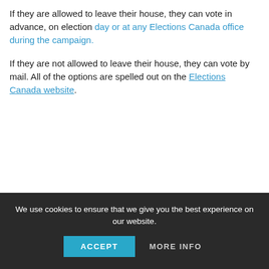If they are allowed to leave their house, they can vote in advance, on election day or at any Elections Canada office during the campaign.
If they are not allowed to leave their house, they can vote by mail. All of the options are spelled out on the Elections Canada website.
We use cookies to ensure that we give you the best experience on our website. ACCEPT | MORE INFO